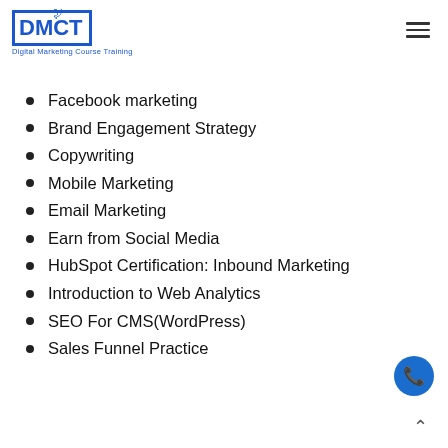[Figure (logo): DMCT Digital Marketing Course Training logo with blue border and bird icon]
Facebook marketing
Brand Engagement Strategy
Copywriting
Mobile Marketing
Email Marketing
Earn from Social Media
HubSpot Certification: Inbound Marketing
Introduction to Web Analytics
SEO For CMS(WordPress)
Sales Funnel Practice